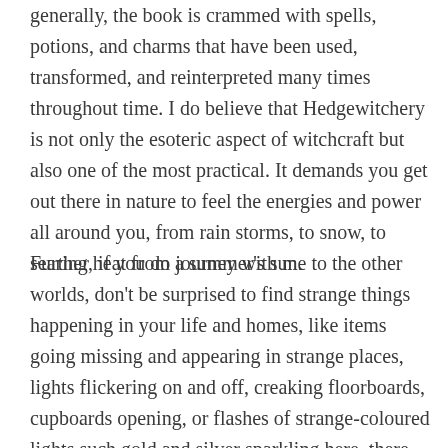generally, the book is crammed with spells, potions, and charms that have been used, transformed, and reinterpreted many times throughout time. I do believe that Hedgewitchery is not only the esoteric aspect of witchcraft but also one of the most practical. It demands you get out there in nature to feel the energies and power all around you, from rain storms, to snow, to searing heat from a summer's sun.
Further, if you do journey with me to the other worlds, don't be surprised to find strange things happening in your life and homes, like items going missing and appearing in strange places, lights flickering on and off, creaking floorboards, cupboards opening, or flashes of strange-coloured lights such gold and silver sparkling here, there, and everywhere.